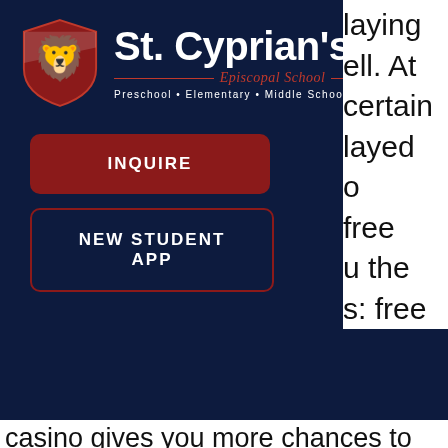[Figure (logo): St. Cyprian's Episcopal School navigation menu overlay on dark navy background with logo, hamburger icon, and four red buttons: INQUIRE, FAMILY PORTAL, NEW STUDENT APP, GIVE]
laying
ell. At
certain
layed
o
free
u the
s: free casino gives you more chances to win big! new players get 100k free coins, and daily bonus spins give you up to 125k coins for free! Download grand jackpot slots - pop vegas casino free games for android to play the best free slots game and claim 2000000 free coins as a. Tons of slots machines. All machines unlocked for you! · multiply your wins by x2, x3, x5, x10, x20! · grand. Myvegas slots brings vegas to you with artful games and free rewards from top las vegas resorts like bellagio, aria, mgm grand, and many more. Bonus free spins will be credited